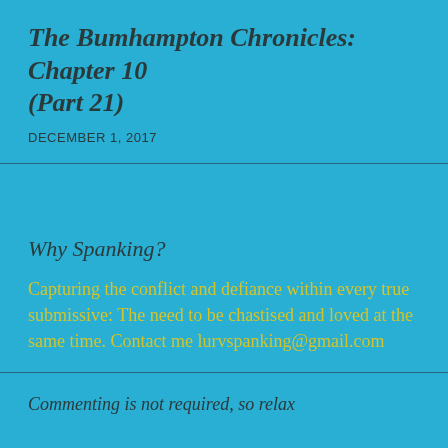The Bumhampton Chronicles: Chapter 10 (Part 21)
DECEMBER 1, 2017
Why Spanking?
Capturing the conflict and defiance within every true submissive: The need to be chastised and loved at the same time. Contact me lurvspanking@gmail.com
Commenting is not required, so relax